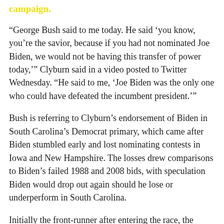campaign.
“George Bush said to me today. He said ‘you know, you’re the savior, because if you had not nominated Joe Biden, we would not be having this transfer of power today,’” Clyburn said in a video posted to Twitter Wednesday. “He said to me, ‘Joe Biden was the only one who could have defeated the incumbent president.’”
Bush is referring to Clyburn’s endorsement of Biden in South Carolina’s Democrat primary, which came after Biden stumbled early and lost nominating contests in Iowa and New Hampshire. The losses drew comparisons to Biden’s failed 1988 and 2008 bids, with speculation Biden would drop out again should he lose or underperform in South Carolina.
Initially the front-runner after entering the race, the losses in Iowa and New Hampshire took their poll on Biden, who trailed Vermont socialist Senator Bernie Sanders among Democrats by 11% nationally for the presidential nomination.
Biden’s lead in South Carolina had fallen to 8% and many speculated he could end up losing the state and all hope of